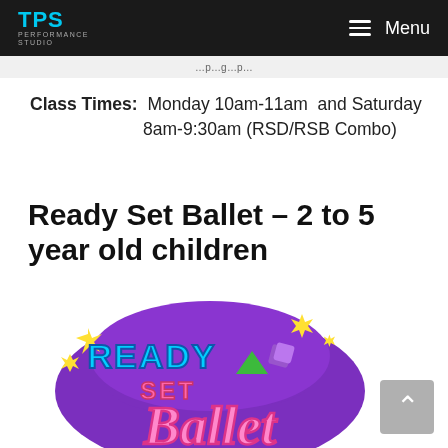TPS Performance Studio | Menu
…p…g…p…
Class Times: Monday 10am-11am and Saturday 8am-9:30am (RSD/RSB Combo)
Ready Set Ballet – 2 to 5 year old children
[Figure (logo): Ready Set Ballet colorful 3D logo with purple background, pink cursive 'Ballet' text, blue 'READY' and pink 'SET' text, with decorative stars and shapes]